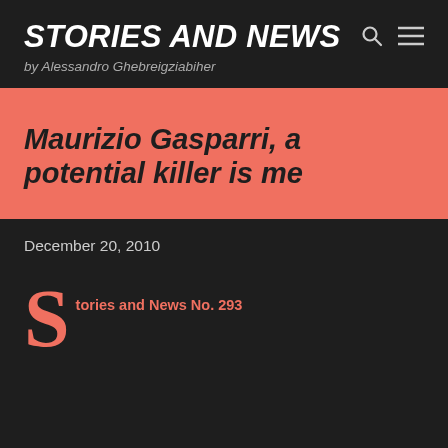STORIES AND NEWS
by Alessandro Ghebreigziabiher
Maurizio Gasparri, a potential killer is me
December 20, 2010
Stories and News No. 293